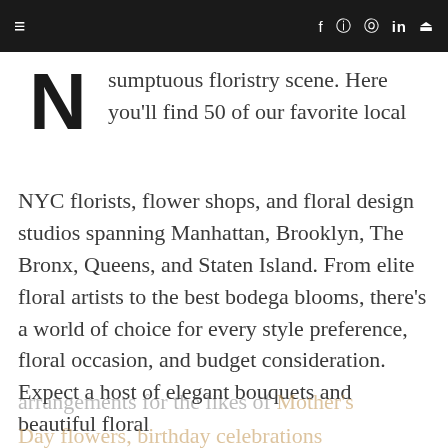≡   f  ⊙  ℗  in  🔍
N  sumptuous floristry scene. Here you'll find 50 of our favorite local NYC florists, flower shops, and floral design studios spanning Manhattan, Brooklyn, The Bronx, Queens, and Staten Island. From elite floral artists to the best bodega blooms, there's a world of choice for every style preference, floral occasion, and budget consideration. Expect a host of elegant bouquets and beautiful floral arrangements for the likes of Mother's Day flowers, birthday celebrations